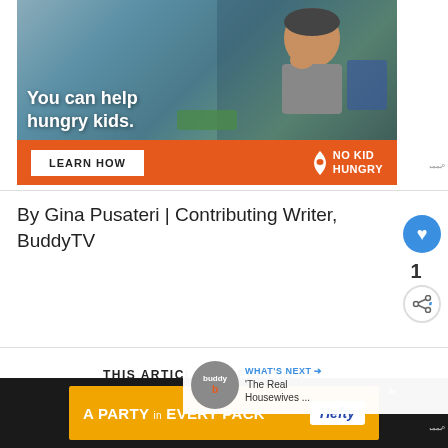[Figure (photo): Advertisement photo: child eating food with text overlay 'You can help hungry kids.' and orange bar with 'LEARN HOW' button and NO KID HUNGRY logo]
By Gina Pusateri | Contributing Writer, BuddyTV
THIS ARTICLE IS RELATED TO
Reality-TV
[Figure (photo): Bottom advertisement: A PARTY in EVERY PACK - Hefty brand, orange background]